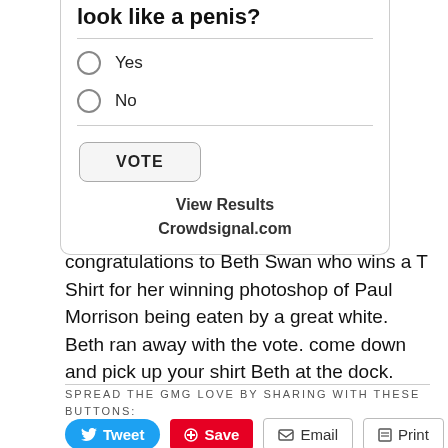[Figure (screenshot): Poll widget with radio buttons for Yes and No options, a VOTE button, View Results link, and Crowdsignal.com attribution]
congratulations to Beth Swan who wins a T Shirt for her winning photoshop of Paul Morrison being eaten by a great white.  Beth ran away with the vote.  come down and pick up your shirt Beth at the dock.
SPREAD THE GMG LOVE BY SHARING WITH THESE BUTTONS:
[Figure (screenshot): Social sharing buttons: Tweet, Save, Email, Print]